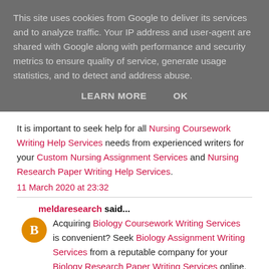This site uses cookies from Google to deliver its services and to analyze traffic. Your IP address and user-agent are shared with Google along with performance and security metrics to ensure quality of service, generate usage statistics, and to detect and address abuse.
LEARN MORE   OK
It is important to seek help for all Nursing Coursework Writing Help Services needs from experienced writers for your Custom Nursing Assignment Services and Nursing Research Paper Writing Help Services.
11 March 2020 at 23:32
meldaresearch said...
Acquiring Biology Coursework Writing Services is convenient? Seek Biology Assignment Writing Services from a reputable company for your Biology Research Paper Writing Services online.
6 April 2020 at 01:37